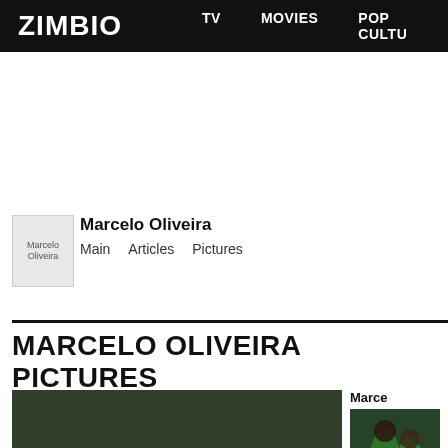ZIMBIO  TV  MOVIES  POP CULTU
[Figure (photo): Placeholder image for Marcelo Oliveira profile thumbnail]
Marcelo Oliveira
Main   Articles   Pictures
MARCELO OLIVEIRA PICTURES
[Figure (photo): Soccer players in green uniforms celebrating on the field, crowded stadium in background]
Marce
View 2 M